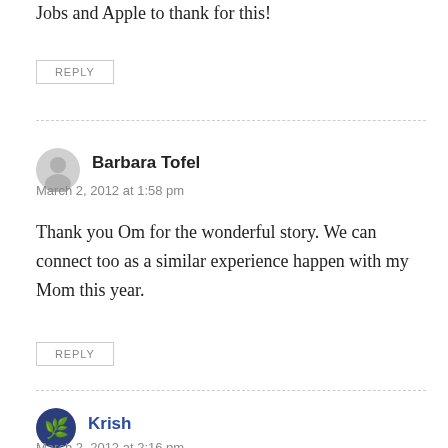Jobs and Apple to thank for this!
REPLY
Barbara Tofel
March 2, 2012 at 1:58 pm
Thank you Om for the wonderful story. We can connect too as a similar experience happen with my Mom this year.
REPLY
Krish
March 2, 2012 at 2:16 pm